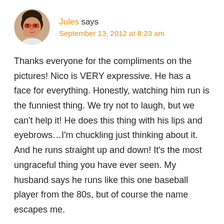[Figure (photo): Circular avatar photo of a woman with red glasses and dark hair, posed with hand near face.]
Jules says
September 13, 2012 at 8:23 am
Thanks everyone for the compliments on the pictures! Nico is VERY expressive. He has a face for everything. Honestly, watching him run is the funniest thing. We try not to laugh, but we can't help it! He does this thing with his lips and eyebrows…I'm chuckling just thinking about it. And he runs straight up and down! It's the most ungraceful thing you have ever seen. My husband says he runs like this one baseball player from the 80s, but of course the name escapes me.